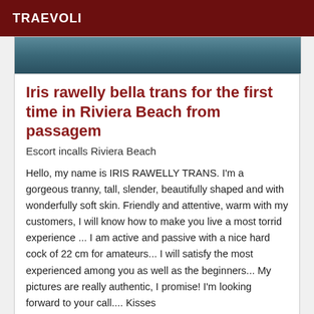TRAEVOLI
[Figure (photo): Top portion of a photo, partially cropped, showing a person against a blue-grey background]
Iris rawelly bella trans for the first time in Riviera Beach from passagem
Escort incalls Riviera Beach
Hello, my name is IRIS RAWELLY TRANS. I'm a gorgeous tranny, tall, slender, beautifully shaped and with wonderfully soft skin. Friendly and attentive, warm with my customers, I will know how to make you live a most torrid experience ... I am active and passive with a nice hard cock of 22 cm for amateurs... I will satisfy the most experienced among you as well as the beginners... My pictures are really authentic, I promise! I'm looking forward to your call.... Kisses
[Figure (photo): Bottom portion of a photo showing warm brown tones, partial view of a person]